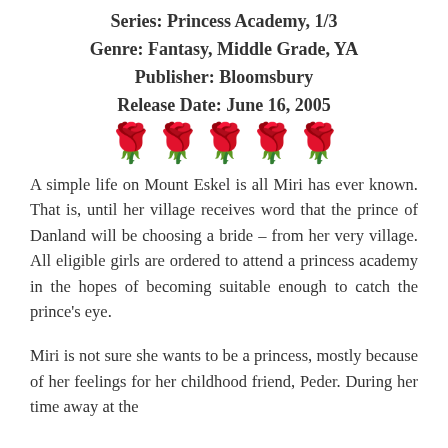Series: Princess Academy, 1/3
Genre: Fantasy, Middle Grade, YA
Publisher: Bloomsbury
Release Date: June 16, 2005
[Figure (illustration): Five red rose emoji icons in a row representing a 5-star rating]
A simple life on Mount Eskel is all Miri has ever known. That is, until her village receives word that the prince of Danland will be choosing a bride – from her very village. All eligible girls are ordered to attend a princess academy in the hopes of becoming suitable enough to catch the prince's eye.
Miri is not sure she wants to be a princess, mostly because of her feelings for her childhood friend, Peder. During her time away at the